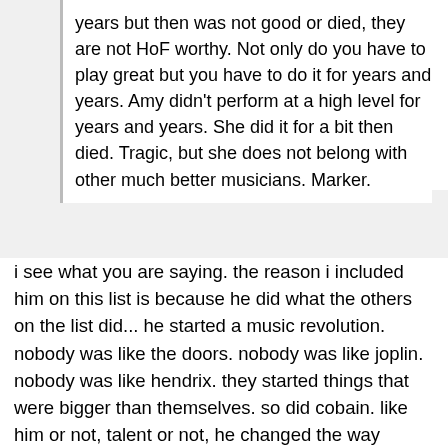years but then was not good or died, they are not HoF worthy. Not only do you have to play great but you have to do it for years and years. Amy didn't perform at a high level for years and years. She did it for a bit then died. Tragic, but she does not belong with other much better musicians. Marker.
i see what you are saying. the reason i included him on this list is because he did what the others on the list did... he started a music revolution. nobody was like the doors. nobody was like joplin. nobody was like hendrix. they started things that were bigger than themselves. so did cobain. like him or not, talent or not, he changed the way people looked at music.